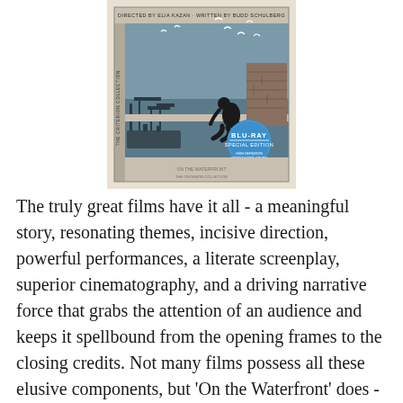[Figure (illustration): DVD/Blu-ray cover of 'On the Waterfront' from The Criterion Collection. The cover shows a grayish-blue graphic illustration of a person sitting on a rooftop ledge overlooking a harbor with cranes and ships. White birds fly overhead. A blue circular badge reads 'BLU-RAY SPECIAL EDITION'. The top credits read 'Directed by Elia Kazan · Written by Budd Schulberg'.]
The truly great films have it all - a meaningful story, resonating themes, incisive direction, powerful performances, a literate screenplay, superior cinematography, and a driving narrative force that grabs the attention of an audience and keeps it spellbound from the opening frames to the closing credits. Not many films possess all these elusive components, but 'On the Waterfront' does - in